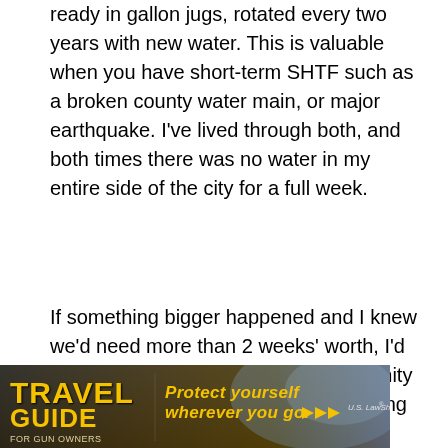ready in gallon jugs, rotated every two years with new water. This is valuable when you have short-term SHTF such as a broken county water main, or major earthquake. I've lived through both, and both times there was no water in my entire side of the city for a full week.
If something bigger happened and I knew we'd need more than 2 weeks' worth, I'd go for the water in the nearby community pool, and filter it for drinking. Keep using it as long as possible until depleted (when your neighbors see what you're doing, they'll start taking from the pool as well, and consume it quickly to flush their toilets).
[Figure (other): Advertisement banner for 'Travel Guide for Gun Owners' featuring the text 'Protect yourself wherever you go.' with U.S. LawShield branding and play button arrows on a dark background.]